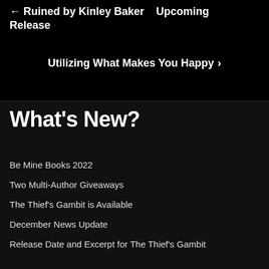← Ruined by Kinley Baker  Upcoming Release
Utilizing What Makes You Happy ›
What's New?
Be Mine Books 2022
Two Multi-Author Giveaways
The Thief's Gambit is Available
December News Update
Release Date and Excerpt for The Thief's Gambit